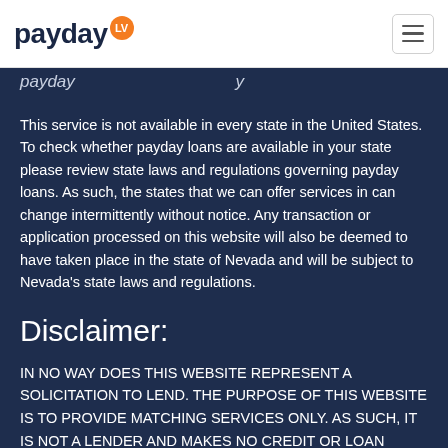payday LV
payday [partial italic text visible]
This service is not available in every state in the United States. To check whether payday loans are available in your state please review state laws and regulations governing payday loans. As such, the states that we can offer services in can change intermittently without notice. Any transaction or application processed on this website will also be deemed to have taken place in the state of Nevada and will be subject to Nevada's state laws and regulations.
Disclaimer:
IN NO WAY DOES THIS WEBSITE REPRESENT A SOLICITATION TO LEND. THE PURPOSE OF THIS WEBSITE IS TO PROVIDE MATCHING SERVICES ONLY. AS SUCH, IT IS NOT A LENDER AND MAKES NO CREDIT OR LOAN DECISIONS. THEREFORE, THE WEBSITE IS NOT RESPONSIBLE FOR THE ACTIONS AND INACTIONS OF ANY THIRD-PARTY LENDER. (WEBSITE NAME) IS NOT A BROKER, AGENT, OR